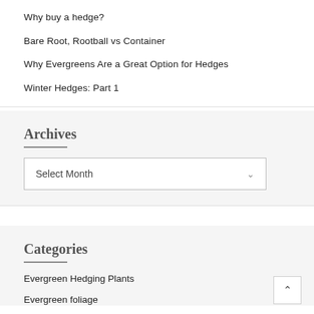Why buy a hedge?
Bare Root, Rootball vs Container
Why Evergreens Are a Great Option for Hedges
Winter Hedges: Part 1
Archives
Select Month
Categories
Evergreen Hedging Plants
Evergreen foliage